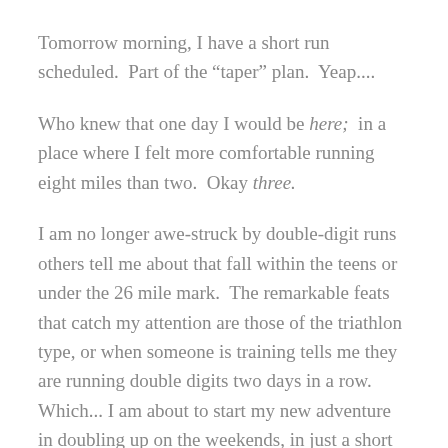Tomorrow morning, I have a short run scheduled.  Part of the “taper” plan.  Yeap....
Who knew that one day I would be here;  in a place where I felt more comfortable running eight miles than two.  Okay three.
I am no longer awe-struck by double-digit runs others tell me about that fall within the teens or under the 26 mile mark.  The remarkable feats that catch my attention are those of the triathlon type, or when someone is training tells me they are running double digits two days in a row.  Which... I am about to start my new adventure in doubling up on the weekends, in just a short week and a half.